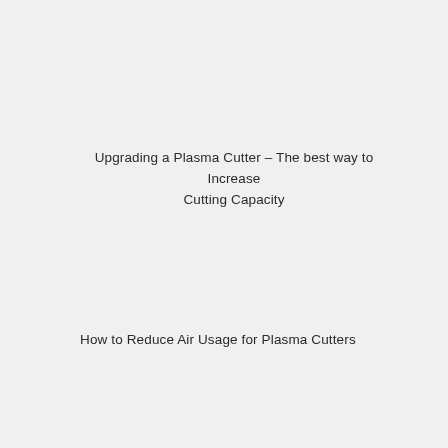Upgrading a Plasma Cutter - The best way to Increase Cutting Capacity
How to Reduce Air Usage for Plasma Cutters